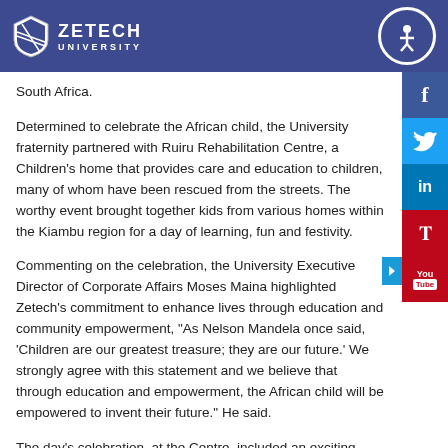Zetech University
South Africa.
Determined to celebrate the African child, the University fraternity partnered with Ruiru Rehabilitation Centre, a Children's home that provides care and education to children, many of whom have been rescued from the streets. The worthy event brought together kids from various homes within the Kiambu region for a day of learning, fun and festivity.
Commenting on the celebration, the University Executive Director of Corporate Affairs Moses Maina highlighted Zetech's commitment to enhance lives through education and community empowerment, "As Nelson Mandela once said, 'Children are our greatest treasure; they are our future.' We strongly agree with this statement and we believe that through education and empowerment, the African child will be empowered to invent their future." He said.
The day's celebration, at the Centre, included an exciting